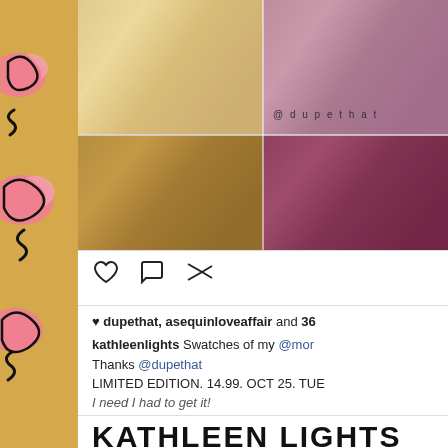[Figure (photo): Makeup eyeshadow swatches on skin - left column shows gold/bronze shimmer shades, right column shows mauve/berry shades. Watermark '@dupethat' visible.]
[Figure (illustration): Decorative left panel with yellow/gold background and pink leopard-print blob shapes in black and pink]
♥ dupethat, asequinloveaffair and 36
kathleenlights Swatches of my @mor Thanks @dupethat LIMITED EDITION. 14.99. OCT 25. TUE
I need I had to get it!
KATHLEEN LIGHTS